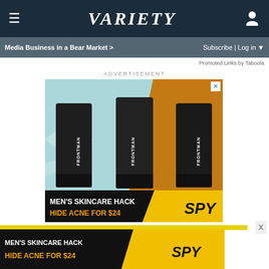VARIETY
Media Business in a Bear Market >
Subscribe | Log in ▼
Promoted Links by Taboola
ADVERTISEMENT
[Figure (photo): Advertisement for Frontman men's skincare product (tubes) with text MEN'S SKINCARE HACK / HIDE ACNE FOR $24 and SPY logo]
[Figure (photo): Bottom sticky advertisement banner: MEN'S SKINCARE HACK / HIDE ACNE FOR $24 with SPY logo]